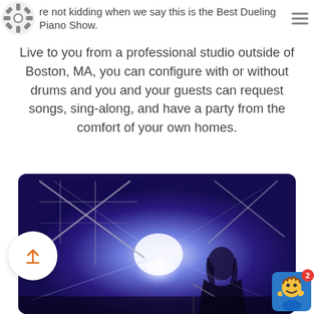We're not kidding when we say this is the Best Dueling Piano Show.
Live to you from a professional studio outside of Boston, MA, you can configure with or without drums and you and your guests can request songs, sing-along, and have a party from the comfort of your own homes.
[Figure (photo): Performer playing piano on stage under blue/purple stage lighting with lighting rig visible in background.]